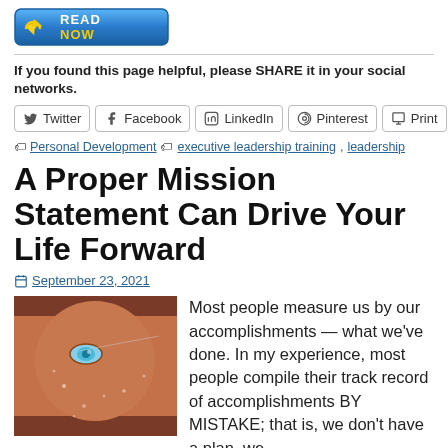[Figure (other): READ NOW button with arrow icon, blue gradient background]
If you found this page helpful, please SHARE it in your social networks.
[Figure (other): Social sharing buttons: Twitter, Facebook, LinkedIn, Pinterest, Print]
Personal Development  executive leadership training, leadership
A Proper Mission Statement Can Drive Your Life Forward
September 23, 2021
[Figure (photo): Close-up photo of a person's face with water droplets]
Most people measure us by our accomplishments — what we've done. In my experience, most people compile their track record of accomplishments BY MISTAKE; that is, we don't have a plan, we